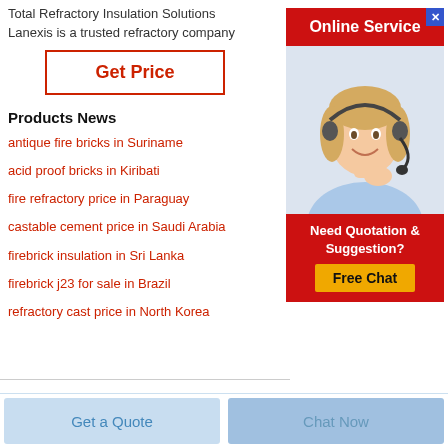Total Refractory Insulation Solutions
Lanexis is a trusted refractory company
Get Price
Products News
antique fire bricks in Suriname
acid proof bricks in Kiribati
fire refractory price in Paraguay
castable cement price in Saudi Arabia
firebrick insulation in Sri Lanka
firebrick j23 for sale in Brazil
refractory cast price in North Korea
[Figure (illustration): Online Service banner with photo of smiling blonde woman with headset, and Free Chat button below]
Get a Quote
Chat Now